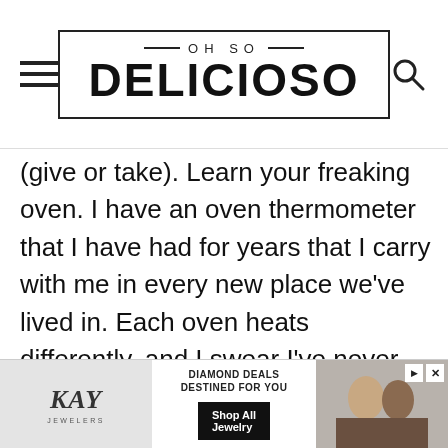OH SO DELICIOSO
(give or take). Learn your freaking oven. I have an oven thermometer that I have had for years that I carry with me in every new place we've lived in. Each oven heats differently, and I swear I've never had an oven that read the temperature it was telling me it was.
You'll learn how many minutes your oven will take. It's done when the crust is firm whe… and
[Figure (screenshot): Kay Jewelers advertisement banner at bottom of page: Kay Jewelers logo on left, 'DIAMOND DEALS DESTINED FOR YOU' text in center, 'Shop All Jewelry' black button, photo of couple on right]